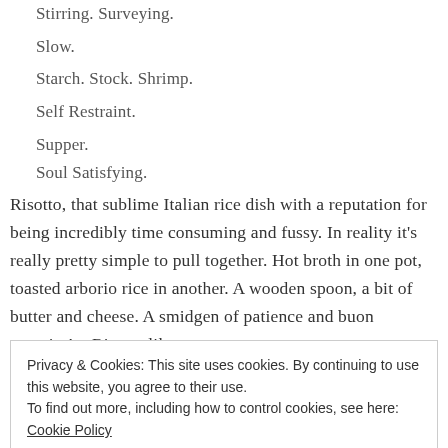Stirring. Surveying.
Slow.
Starch. Stock. Shrimp.
Self Restraint.
Supper.
Soul Satisfying.
Risotto, that sublime Italian rice dish with a reputation for being incredibly time consuming and fussy. In reality it's really pretty simple to pull together. Hot broth in one pot, toasted arborio rice in another. A wooden spoon, a bit of butter and cheese. A smidgen of patience and buon appetito!... Risotto like you
Privacy & Cookies: This site uses cookies. By continuing to use this website, you agree to their use.
To find out more, including how to control cookies, see here: Cookie Policy
Close and accept
needs to be served IMMEDIATELY or it becomes dense and